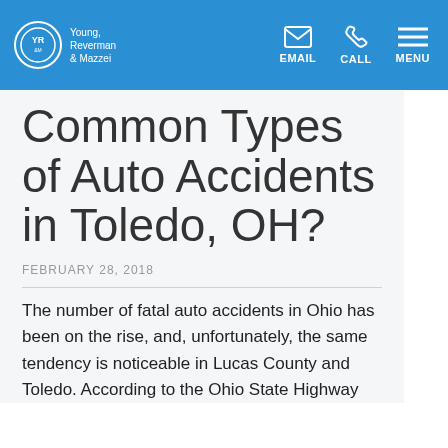Young, Reverman & Mazzei — EMAIL  CALL  MENU
Common Types of Auto Accidents in Toledo, OH?
FEBRUARY 28, 2018
The number of fatal auto accidents in Ohio has been on the rise, and, unfortunately, the same tendency is noticeable in Lucas County and Toledo. According to the Ohio State Highway